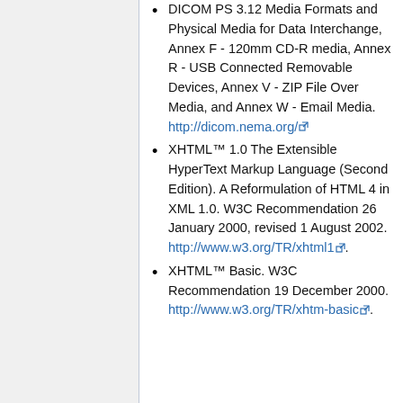DICOM PS 3.12 Media Formats and Physical Media for Data Interchange, Annex F - 120mm CD-R media, Annex R - USB Connected Removable Devices, Annex V - ZIP File Over Media, and Annex W - Email Media. http://dicom.nema.org/
XHTML™ 1.0 The Extensible HyperText Markup Language (Second Edition). A Reformulation of HTML 4 in XML 1.0. W3C Recommendation 26 January 2000, revised 1 August 2002. http://www.w3.org/TR/xhtml1.
XHTML™ Basic. W3C Recommendation 19 December 2000. http://www.w3.org/TR/xhtm-basic.